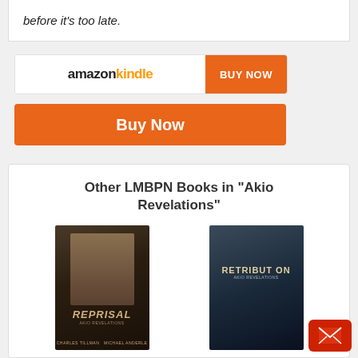before it's too late.
[Figure (other): Amazon Kindle Buy Now button row with logo and orange BUY NOW button]
[Figure (other): Orange Buy Now button]
Other LMBPN Books in "Akio Revelations"
[Figure (other): Book cover for Reprisal - Akio Revelations]
Reprisal
[Figure (other): Book cover for Retribution - Akio Revelations]
Retribution
[Figure (other): Partial book cover bottom left]
[Figure (other): Partial book cover bottom right]